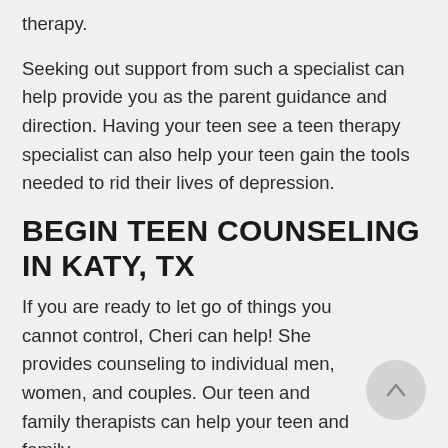therapy.
Seeking out support from such a specialist can help provide you as the parent guidance and direction. Having your teen see a teen therapy specialist can also help your teen gain the tools needed to rid their lives of depression.
BEGIN TEEN COUNSELING IN KATY, TX
If you are ready to let go of things you cannot control, Cheri can help! She provides counseling to individual men, women, and couples. Our teen and family therapists can help your teen and family